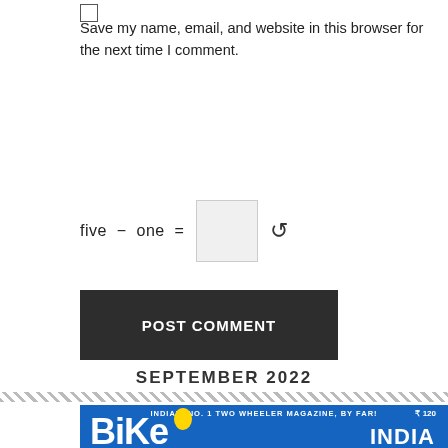Save my name, email, and website in this browser for the next time I comment.
five  −  one  =
POST COMMENT
SEPTEMBER 2022
[Figure (photo): Magazine cover of Bike India, September 2022 issue. Blue cover with large BIKE INDIA logo, text 'INDIA'S NO. 1 TWO WHEELER MAGAZINE, BY FAR!', price ₹120, and text 'ROYAL ENFIELD HUNTER'. Shows a motorcyclist wearing a helmet.]